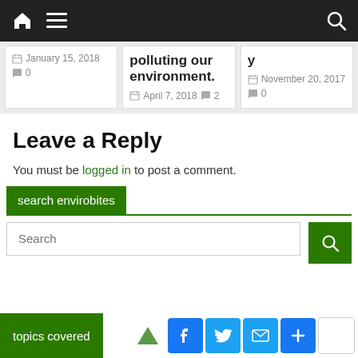Navigation bar with home, menu, and search icons
January 15, 2018  0
polluting our environment.
April 7, 2018  2
y
November 20, 2017  0
Leave a Reply
You must be logged in to post a comment.
search envirobites
Search
topics covered